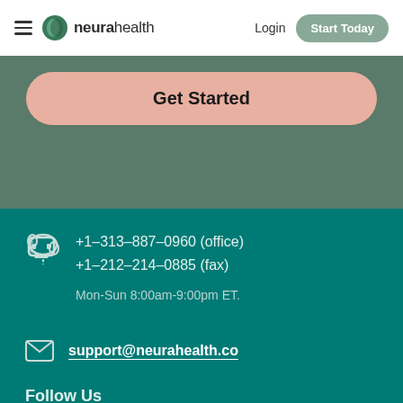neurahealth — Login | Start Today
Get Started
+1-313-887-0960 (office)
+1-212-214-0885 (fax)

Mon-Sun 8:00am-9:00pm ET.
support@neurahealth.co
Follow Us